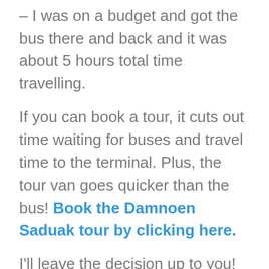– I was on a budget and got the bus there and back and it was about 5 hours total time travelling.
If you can book a tour, it cuts out time waiting for buses and travel time to the terminal. Plus, the tour van goes quicker than the bus! Book the Damnoen Saduak tour by clicking here.
I'll leave the decision up to you!
If you fancy seeing the railway market